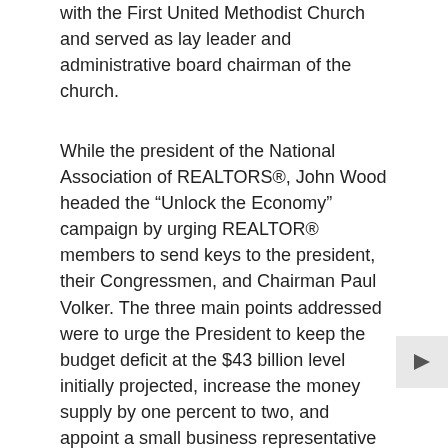with the First United Methodist Church and served as lay leader and administrative board chairman of the church.
While the president of the National Association of REALTORS®, John Wood headed the “Unlock the Economy” campaign by urging REALTOR® members to send keys to the president, their Congressmen, and Chairman Paul Volker. The three main points addressed were to urge the President to keep the budget deficit at the $43 billion level initially projected, increase the money supply by one percent to two, and appoint a small business representative to the Federal Reserve Board so that those who were being harmed the most by the policies of the Board would have input and representation.